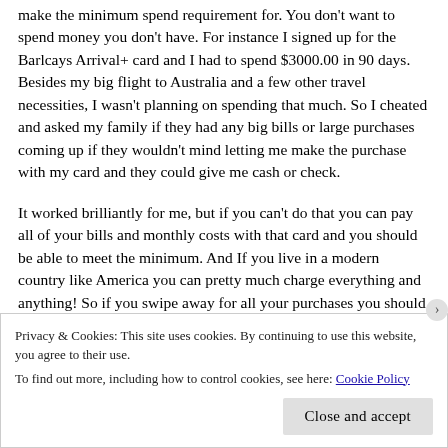make the minimum spend requirement for. You don't want to spend money you don't have. For instance I signed up for the Barlcays Arrival+ card and I had to spend $3000.00 in 90 days. Besides my big flight to Australia and a few other travel necessities, I wasn't planning on spending that much. So I cheated and asked my family if they had any big bills or large purchases coming up if they wouldn't mind letting me make the purchase with my card and they could give me cash or check.
It worked brilliantly for me, but if you can't do that you can pay all of your bills and monthly costs with that card and you should be able to meet the minimum. And If you live in a modern country like America you can pretty much charge everything and anything! So if you swipe away for all your purchases you should
Privacy & Cookies: This site uses cookies. By continuing to use this website, you agree to their use.
To find out more, including how to control cookies, see here: Cookie Policy
Close and accept